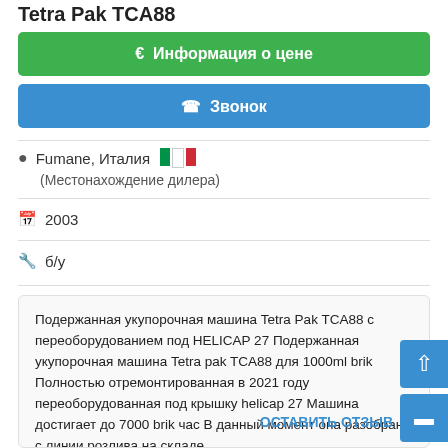Tetra Pak TCA88
€ Информация о цене
✆ Звонок
Fumane, Италия 🇮🇹
(Местонахождение дилера)
2003
б/у
Подержанная укупорочная машина Tetra Pak TCA88 с переоборудованием под HELICAP 27 Подержанная укупорочная машина Tetra pak TCA88 для 1000ml brik Полностью отремонтированная в 2021 году переоборудованная под крышку helicap 27 Машина достигает до 7000 brik час В данный момент она разобрана с линии розлива на складе
ОСТАВИТЬ ОТЗЫВ